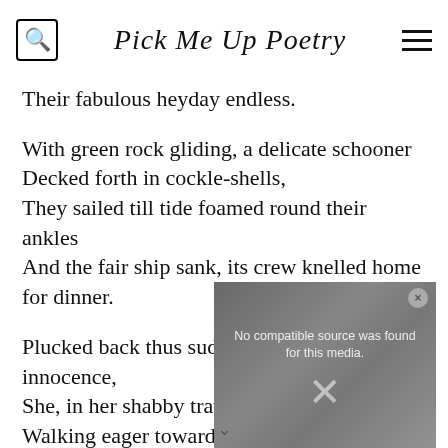Pick Me Up Poetry
Their fabulous heyday endless.
With green rock gliding, a delicate schooner
Decked forth in cockle-shells,
They sailed till tide foamed round their ankles
And the fair ship sank, its crew knelled home
for dinner.
Plucked back thus sudden to that far innocence,
She, in her shabby travel garb, began
Walking eager toward water, when there, one
[Figure (screenshot): Video player overlay showing 'No compatible source was found for this media.' with a large X button and close button]